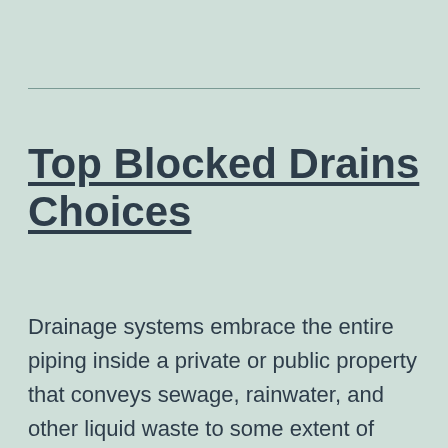Top Blocked Drains Choices
Drainage systems embrace the entire piping inside a private or public property that conveys sewage, rainwater, and other liquid waste to some extent of disposal. We’ll try to resolve the complaint informally with the property owner.